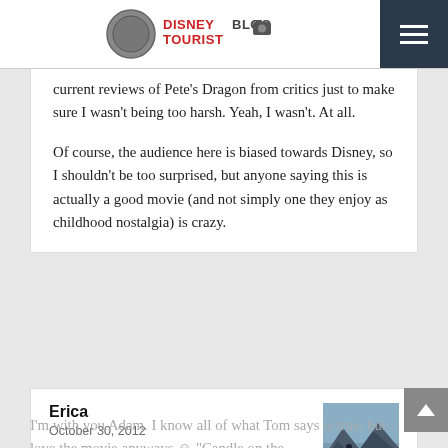DisneyTouristBlog
current reviews of Pete’s Dragon from critics just to make sure I wasn’t being too harsh. Yeah, I wasn’t. At all.
Of course, the audience here is biased towards Disney, so I shouldn’t be too surprised, but anyone saying this is actually a good movie (and not simply one they enjoy as childhood nostalgia) is crazy.
Erica
October 30, 2012
[Figure (photo): Avatar photo of commenter Erica showing a mountain landscape with a person silhouette]
I’m with you Adam. I know all of what Tom says is true, but… I love the movie anyways ☺ “Candle on the